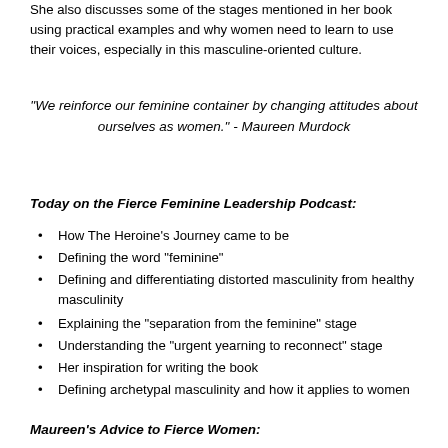She also discusses some of the stages mentioned in her book using practical examples and why women need to learn to use their voices, especially in this masculine-oriented culture.
“We reinforce our feminine container by changing attitudes about ourselves as women.” - Maureen Murdock
Today on the Fierce Feminine Leadership Podcast:
How The Heroine’s Journey came to be
Defining the word “feminine”
Defining and differentiating distorted masculinity from healthy masculinity
Explaining the “separation from the feminine” stage
Understanding the “urgent yearning to reconnect” stage
Her inspiration for writing the book
Defining archetypal masculinity and how it applies to women
Maureen’s Advice to Fierce Women: